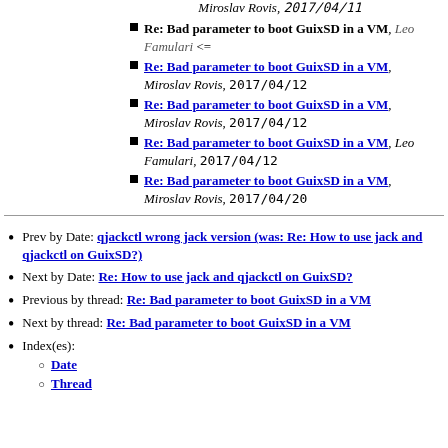Miroslav Rovis, 2017/04/11
Re: Bad parameter to boot GuixSD in a VM, Leo Famulari <=
Re: Bad parameter to boot GuixSD in a VM, Miroslav Rovis, 2017/04/12
Re: Bad parameter to boot GuixSD in a VM, Miroslav Rovis, 2017/04/12
Re: Bad parameter to boot GuixSD in a VM, Leo Famulari, 2017/04/12
Re: Bad parameter to boot GuixSD in a VM, Miroslav Rovis, 2017/04/20
Prev by Date: qjackctl wrong jack version (was: Re: How to use jack and qjackctl on GuixSD?)
Next by Date: Re: How to use jack and qjackctl on GuixSD?
Previous by thread: Re: Bad parameter to boot GuixSD in a VM
Next by thread: Re: Bad parameter to boot GuixSD in a VM
Index(es): Date, Thread